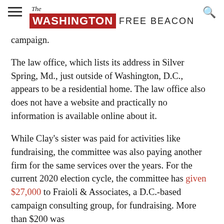The Washington Free Beacon
campaign.
The law office, which lists its address in Silver Spring, Md., just outside of Washington, D.C., appears to be a residential home. The law office also does not have a website and practically no information is available online about it.
While Clay's sister was paid for activities like fundraising, the committee was also paying another firm for the same services over the years. For the current 2020 election cycle, the committee has given $27,000 to Fraioli & Associates, a D.C.-based campaign consulting group, for fundraising. More than $200 was